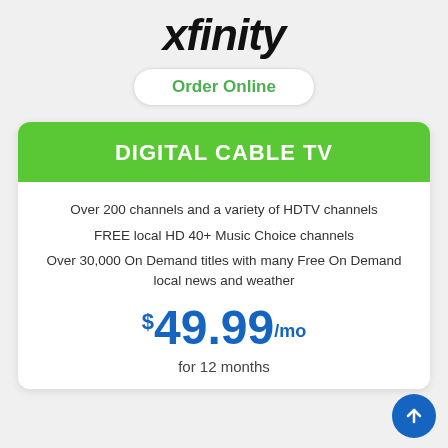xfinity
Order Online
DIGITAL CABLE TV
Over 200 channels and a variety of HDTV channels
FREE local HD 40+ Music Choice channels
Over 30,000 On Demand titles with many Free On Demand local news and weather
$49.99/mo
for 12 months